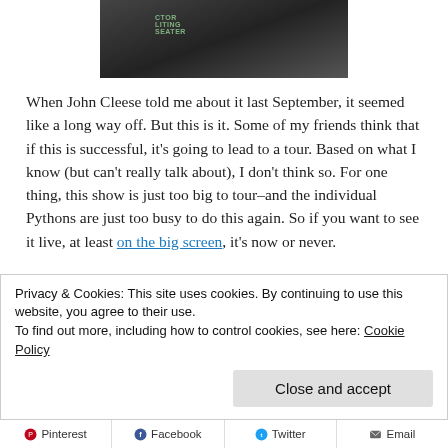[Figure (photo): Partial photo of people at an event, cropped at bottom, dark background with green text visible]
When John Cleese told me about it last September, it seemed like a long way off. But this is it. Some of my friends think that if this is successful, it's going to lead to a tour. Based on what I know (but can't really talk about), I don't think so. For one thing, this show is just too big to tour–and the individual Pythons are just too busy to do this again. So if you want to see it live, at least on the big screen, it's now or never.
I'll probably try to write a longer appreciation afterward, either after the show or after I get back to the States. And yes, I do
Privacy & Cookies: This site uses cookies. By continuing to use this website, you agree to their use.
To find out more, including how to control cookies, see here: Cookie Policy
Close and accept
Pinterest  Facebook  Twitter  Email